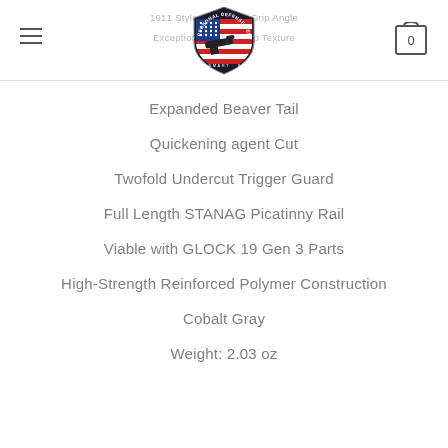1911 Style 10 Degree Grip Angle | Exceptional 4-Way Grip Texture
[Figure (logo): Personal Defense Center shield logo with American flag and pistol graphic, text: SAFE SMART STRONG]
Expanded Beaver Tail
Quickening agent Cut
Twofold Undercut Trigger Guard
Full Length STANAG Picatinny Rail
Viable with GLOCK 19 Gen 3 Parts
High-Strength Reinforced Polymer Construction
Cobalt Gray
Weight: 2.03 oz